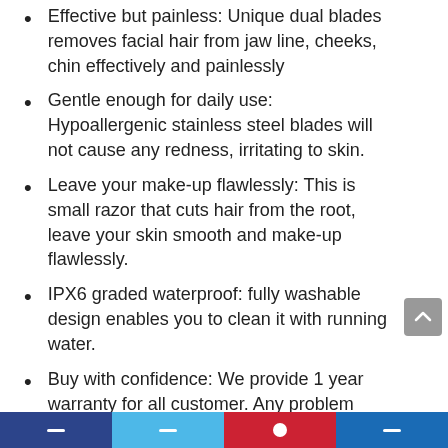Effective but painless: Unique dual blades removes facial hair from jaw line, cheeks, chin effectively and painlessly
Gentle enough for daily use: Hypoallergenic stainless steel blades will not cause any redness, irritating to skin.
Leave your make-up flawlessly: This is small razor that cuts hair from the root, leave your skin smooth and make-up flawlessly.
IPX6 graded waterproof: fully washable design enables you to clean it with running water.
Buy with confidence: We provide 1 year warranty for all customer. Any problem please feel free to contact us. Requires 1*AA battery (Battery Not Included)